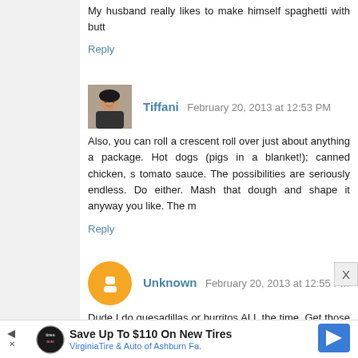My husband really likes to make himself spaghetti with butt...
Reply
Tiffani  February 20, 2013 at 12:53 PM
Also, you can roll a crescent roll over just about anything a... package. Hot dogs (pigs in a blanket!); canned chicken, s... tomato sauce. The possibilities are seriously endless. Do... either. Mash that dough and shape it anyway you like. The m...
Reply
Unknown  February 20, 2013 at 12:55 PM
Dude I do quesadillas or burritos ALL the time. Get those... kind with e. coli), black beans, cheese, and grilled chicken b... I just have a veggie version. Add some cumin, lime juice, ga... george foreman grill, so I use that. You can also just use a... the quesadilla/burrito to get both sides all crunchy like.
Fave flavors:
- spinach and chicken
- black bean and guacamole
- spinach and black bean and mushroom
[Figure (infographic): Advertisement banner: Save Up To $110 On New Tires - VirginiaTire & Auto of Ashburn Fa.]